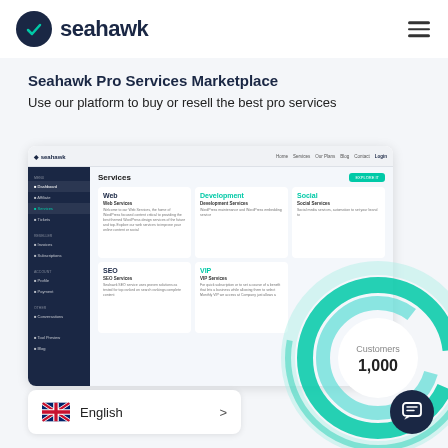[Figure (logo): Seahawk logo: dark navy circle with teal checkmark, followed by 'seahawk' text in bold dark navy]
Seahawk Pro Services Marketplace
Use our platform to buy or resell the best pro services
[Figure (screenshot): Screenshot of Seahawk Pro Services Marketplace dashboard showing Services page with Web, Development, Social, SEO, VIP service cards in a dark sidebar layout]
[Figure (donut-chart): Partial donut/ring chart in teal/cyan colors showing Customers metric with value 1,000+]
Customers
1,000
English >